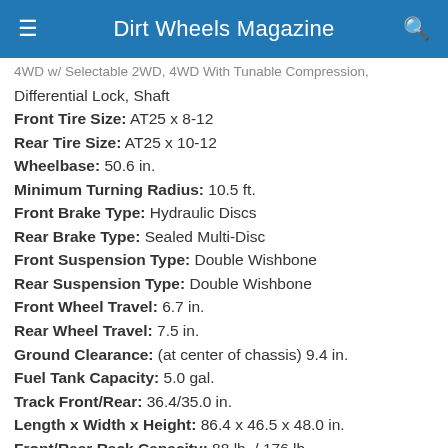Dirt Wheels Magazine
…4WD w/ Selectable 2WD, 4WD With Tunable Compression, Differential Lock, Shaft
Front Tire Size: AT25 x 8-12
Rear Tire Size: AT25 x 10-12
Wheelbase: 50.6 in.
Minimum Turning Radius: 10.5 ft.
Front Brake Type: Hydraulic Discs
Rear Brake Type: Sealed Multi-Disc
Front Suspension Type: Double Wishbone
Rear Suspension Type: Double Wishbone
Front Wheel Travel: 6.7 in.
Rear Wheel Travel: 7.5 in.
Ground Clearance: (at center of chassis) 9.4 in.
Fuel Tank Capacity: 5.0 gal.
Track Front/Rear: 36.4/35.0 in.
Length x Width x Height: 86.4 x 46.5 x 48.0 in.
Front/Rear Rack Capacity: 88 lb. / 176 lb.
Towing Capacity: 1,250 lb.
Tongue Weight Capacity: 88 lb.